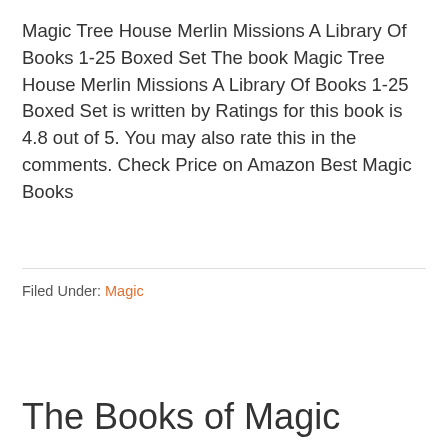Magic Tree House Merlin Missions A Library Of Books 1-25 Boxed Set The book Magic Tree House Merlin Missions A Library Of Books 1-25 Boxed Set is written by Ratings for this book is 4.8 out of 5. You may also rate this in the comments. Check Price on Amazon Best Magic Books
Filed Under: Magic
The Books of Magic